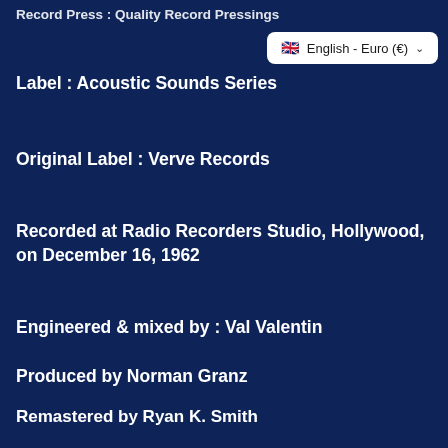Record Press : Quality Record Pressings
[Figure (screenshot): Language/currency selector dropdown showing UK flag, 'English - Euro (€)' with chevron, white rounded rectangle on dark blue background]
Label : Acoustic Sounds Series
Original Label : Verve Records
Recorded at Radio Recorders Studio, Hollywood, on December 16, 1962
Engineered & mixed by : Val Valentin
Produced by Norman Granz
Remastered by Ryan K. Smith
Originally released in 1963